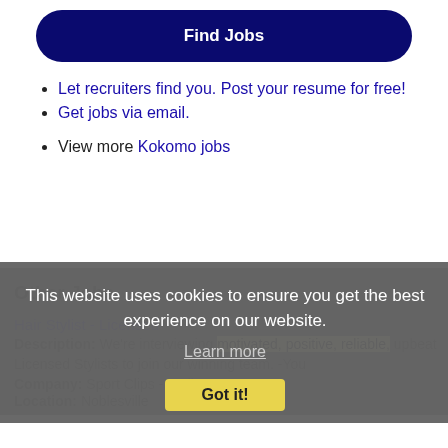[Figure (other): Rounded blue 'Find Jobs' button]
Let recruiters find you. Post your resume for free!
Get jobs via email.
View more Kokomo jobs
Other Jobs
This website uses cookies to ensure you get the best experience on our website.
Learn more
Got it!
Hair Stylist - Licensed
Description: We're interviewing motivated, positive, reliable, upbeat Licensed Stylists to join our winning team. -You
Company: Sport Clips - Stylist - IN114
Location: Noblesville